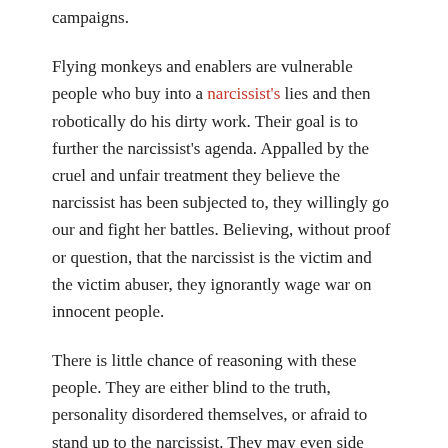campaigns.
Flying monkeys and enablers are vulnerable people who buy into a narcissist's lies and then robotically do his dirty work. Their goal is to further the narcissist's agenda. Appalled by the cruel and unfair treatment they believe the narcissist has been subjected to, they willingly go our and fight her battles. Believing, without proof or question, that the narcissist is the victim and the victim abuser, they ignorantly wage war on innocent people.
There is little chance of reasoning with these people. They are either blind to the truth, personality disordered themselves, or afraid to stand up to the narcissist. They may even side with the narcissist out of fear of being targeted themselves.
This is extremely frustrating to those suffering the abuse. It